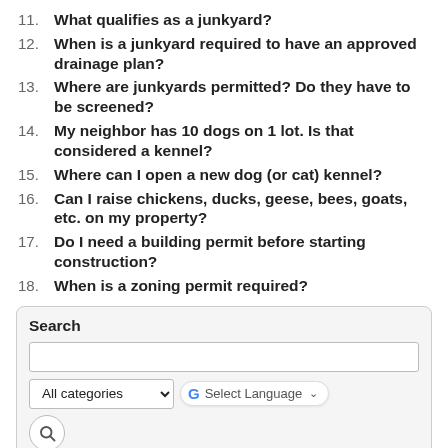11. What qualifies as a junkyard?
12. When is a junkyard required to have an approved drainage plan?
13. Where are junkyards permitted? Do they have to be screened?
14. My neighbor has 10 dogs on 1 lot. Is that considered a kennel?
15. Where can I open a new dog (or cat) kennel?
16. Can I raise chickens, ducks, geese, bees, goats, etc. on my property?
17. Do I need a building permit before starting construction?
18. When is a zoning permit required?
Search